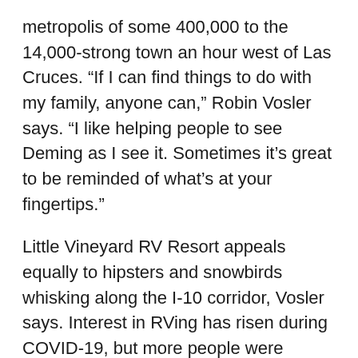metropolis of some 400,000 to the 14,000-strong town an hour west of Las Cruces. “If I can find things to do with my family, anyone can,” Robin Vosler says. “I like helping people to see Deming as I see it. Sometimes it’s great to be reminded of what’s at your fingertips.”
Little Vineyard RV Resort appeals equally to hipsters and snowbirds whisking along the I-10 corridor, Vosler says. Interest in RVing has risen during COVID-19, but more people were already embracing the footloose lifestyle. “People don’t want to work so hard to pay a mortgage,” she says. “It’s about sightseeing and having experiences, whether it’s with your family or a companion.”
That laidback lifestyle resonates in Deming, which invites visitors to explore at their own pace. Many of the resort’s visitors arrive expecting to spend a day or so in Deming or enjoying amenities such as the resort’s renovated